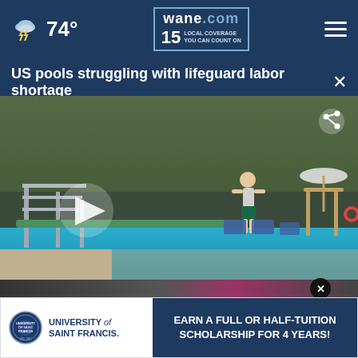wane.com — 15 LOCAL COVERAGE YOU CAN COUNT ON — 74°
US pools struggling with lifeguard labor shortage
[Figure (screenshot): Video thumbnail showing a person walking on a diving board at an outdoor swimming pool. A large play button is visible on the left. Trees and pool chairs are visible in the background. A share icon is in the upper right.]
[Figure (photo): Lower portion of a video/image strip showing a partial figure in dark clothing and a pink object, with a close (X) button overlay.]
EARN A FULL OR HALF-TUITION SCHOLARSHIP FOR 4 YEARS! — University of Saint Francis advertisement